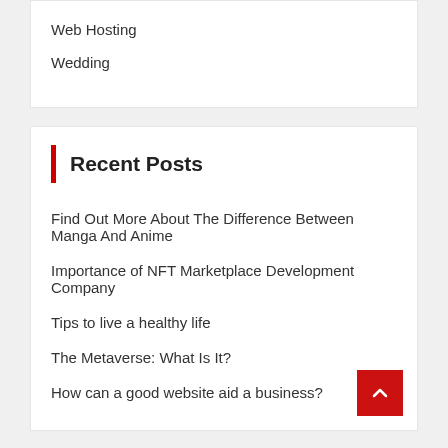Web Hosting
Wedding
Recent Posts
Find Out More About The Difference Between Manga And Anime
Importance of NFT Marketplace Development Company
Tips to live a healthy life
The Metaverse: What Is It?
How can a good website aid a business?